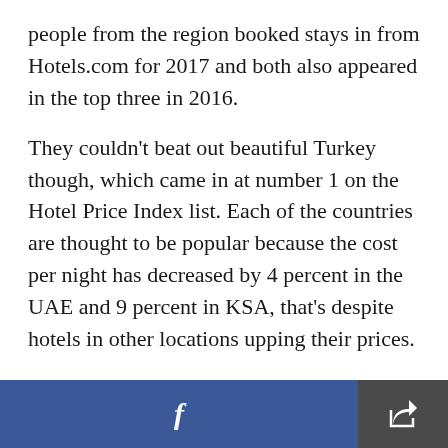people from the region booked stays in from Hotels.com for 2017 and both also appeared in the top three in 2016.
They couldn't beat out beautiful Turkey though, which came in at number 1 on the Hotel Price Index list. Each of the countries are thought to be popular because the cost per night has decreased by 4 percent in the UAE and 9 percent in KSA, that's despite hotels in other locations upping their prices.
Check out the other counties that made the top 10 and see he price difference from the previous year,
f [share icon]